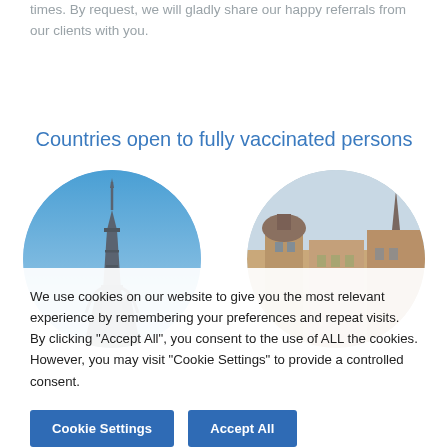times. By request, we will gladly share our happy referrals from our clients with you.
Countries open to fully vaccinated persons
[Figure (photo): Two circular cropped photos side by side: left shows the Eiffel Tower against a blue sky, right shows historic European rooftops and architecture.]
We use cookies on our website to give you the most relevant experience by remembering your preferences and repeat visits. By clicking "Accept All", you consent to the use of ALL the cookies. However, you may visit "Cookie Settings" to provide a controlled consent.
Cookie Settings   Accept All